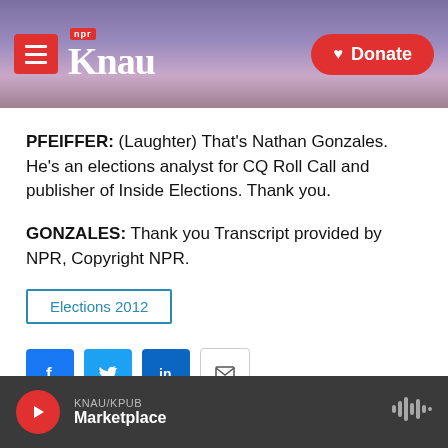KNAU NPR / Donate
PFEIFFER: (Laughter) That's Nathan Gonzales. He's an elections analyst for CQ Roll Call and publisher of Inside Elections. Thank you.
GONZALES: Thank you Transcript provided by NPR, Copyright NPR.
Elections 2012
[Figure (other): Social share buttons: Facebook, Twitter, LinkedIn, Email]
KNAU/KPUB Marketplace